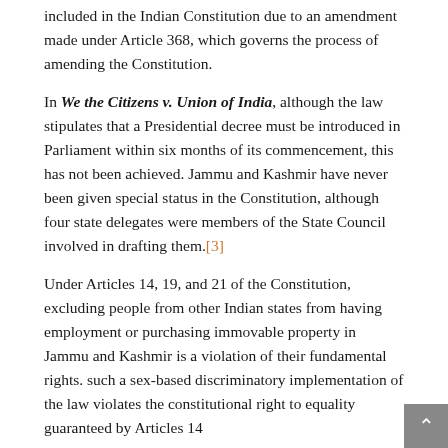included in the Indian Constitution due to an amendment made under Article 368, which governs the process of amending the Constitution.
In We the Citizens v. Union of India, although the law stipulates that a Presidential decree must be introduced in Parliament within six months of its commencement, this has not been achieved. Jammu and Kashmir have never been given special status in the Constitution, although four state delegates were members of the State Council involved in drafting them.[3]
Under Articles 14, 19, and 21 of the Constitution, excluding people from other Indian states from having employment or purchasing immovable property in Jammu and Kashmir is a violation of their fundamental rights. such a sex-based discriminatory implementation of the law violates the constitutional right to equality guaranteed by Articles 14